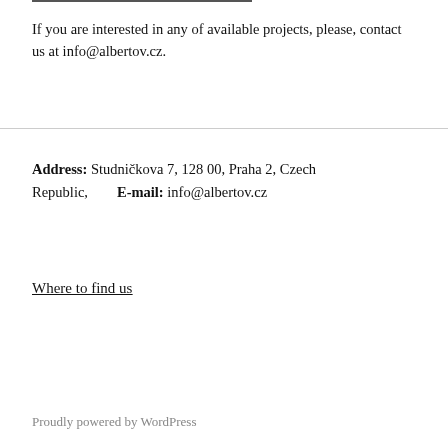If you are interested in any of available projects, please, contact us at info@albertov.cz.
Address: Studničkova 7, 128 00, Praha 2, Czech Republic,   E-mail: info@albertov.cz
Where to find us
Proudly powered by WordPress